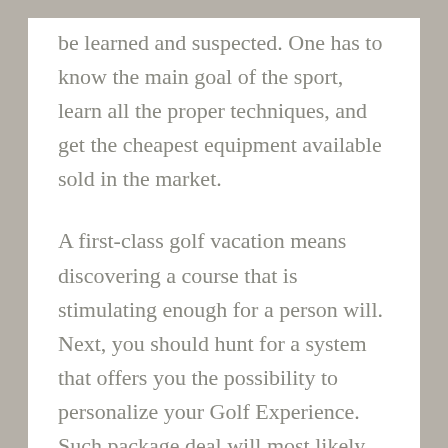be learned and suspected. One has to know the main goal of the sport, learn all the proper techniques, and get the cheapest equipment available sold in the market.
A first-class golf vacation means discovering a course that is stimulating enough for a person will. Next, you should hunt for a system that offers you the possibility to personalize your Golf Experience. Such package deal will most likely include hotel accommodation, golf lessons, wellness and skin clinic.
I were chance to with Mike Jamison from Golf Orlando to get yourself a better presentation of the extensive golf facilities that the Orlando area has accessible.